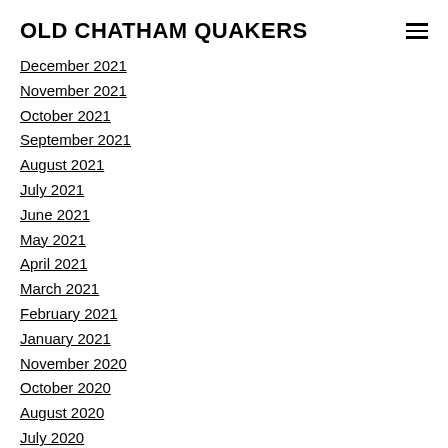OLD CHATHAM QUAKERS
December 2021
November 2021
October 2021
September 2021
August 2021
July 2021
June 2021
May 2021
April 2021
March 2021
February 2021
January 2021
November 2020
October 2020
August 2020
July 2020